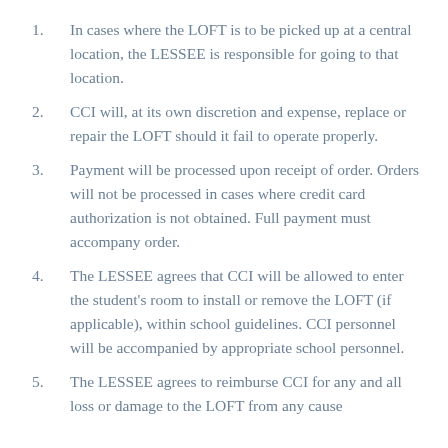In cases where the LOFT is to be picked up at a central location, the LESSEE is responsible for going to that location.
CCI will, at its own discretion and expense, replace or repair the LOFT should it fail to operate properly.
Payment will be processed upon receipt of order. Orders will not be processed in cases where credit card authorization is not obtained. Full payment must accompany order.
The LESSEE agrees that CCI will be allowed to enter the student's room to install or remove the LOFT (if applicable), within school guidelines. CCI personnel will be accompanied by appropriate school personnel.
The LESSEE agrees to reimburse CCI for any and all loss or damage to the LOFT from any cause